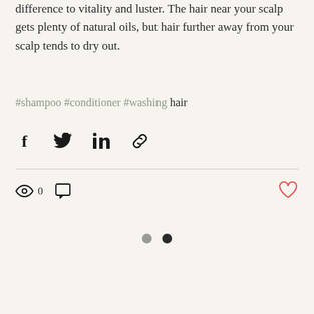difference to vitality and luster. The hair near your scalp gets plenty of natural oils, but hair further away from your scalp tends to dry out.
#shampoo #conditioner #washing hair
[Figure (infographic): Social share buttons row: Facebook, Twitter, LinkedIn, and link icons]
[Figure (infographic): Engagement stats row: eye/views icon with count 0, comment icon, and a heart/like button on the right]
[Figure (infographic): Pagination dots: grey circle (inactive) and black circle (active)]